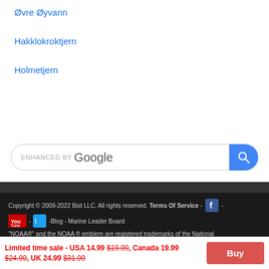Øvre Øyvann
Hakklokroktjern
Holmetjern
[Figure (screenshot): Google enhanced search bar with blue search button]
Copyright © 2009-2022 Bist LLC. All rights reserved. Terms Of Service - [Facebook icon] - [YouTube icon] - [Twitter icon] -Blog - Marine Leader Board
"NOAA®" and the NOAA ® emblem are registered trademarks of the National
Limited time sale - USA 14.99 $19.99, Canada 19.99 $24.99, UK 24.99 $31.99